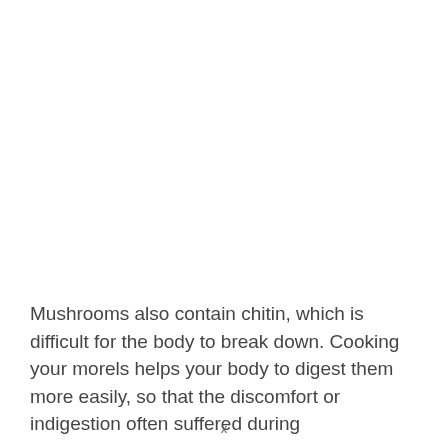Mushrooms also contain chitin, which is difficult for the body to break down. Cooking your morels helps your body to digest them more easily, so that the discomfort or indigestion often suffered during
x